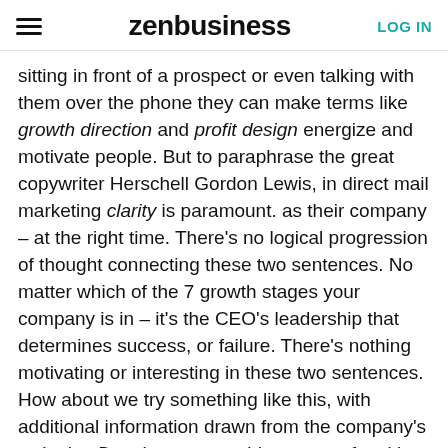zenbusiness | LOG IN
sitting in front of a prospect or even talking with them over the phone they can make terms like growth direction and profit design energize and motivate people. But to paraphrase the great copywriter Herschell Gordon Lewis, in direct mail marketing clarity is paramount. as their company – at the right time. There's no logical progression of thought connecting these two sentences. No matter which of the 7 growth stages your company is in – it's the CEO's leadership that determines success, or failure. There's nothing motivating or interesting in these two sentences. How about we try something like this, with additional information drawn from the company's web site: Drawing on over thirty years of multi-faceted, hands-on experience guiding and helping grow more than 600 companies...Origin Institute principals have identified and documented 7 distinct stages of growth. And each stage calls for a subtle difference in the owner's or CEO's leadership and management style. At this fast-moving, information-packed workshop you'll discover these unique